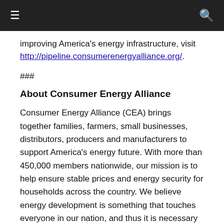navigation bar with hamburger menu and search icon
improving America's energy infrastructure, visit http://pipeline.consumerenergyalliance.org/.
###
About Consumer Energy Alliance
Consumer Energy Alliance (CEA) brings together families, farmers, small businesses, distributors, producers and manufacturers to support America's energy future. With more than 450,000 members nationwide, our mission is to help ensure stable prices and energy security for households across the country. We believe energy development is something that touches everyone in our nation, and thus it is necessary for all of us to actively engage in the conversation about how we develop our diverse energy resources and